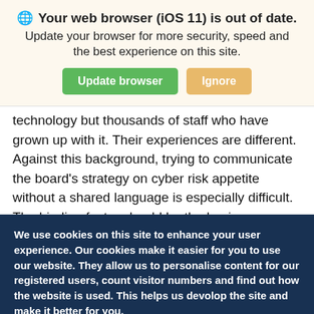[Figure (screenshot): Browser update notification banner with globe icon, bold title 'Your web browser (iOS 11) is out of date.', subtitle text, and two buttons: 'Update browser' (green) and 'Ignore' (tan/orange)]
technology but thousands of staff who have grown up with it. Their experiences are different. Against this background, trying to communicate the board's strategy on cyber risk appetite without a shared language is especially difficult. The binding factor should be the business objective. If this is clear enough, then everyone can understand how what they do is relevant to the risk and the opportunity, cyber or
We use cookies on this site to enhance your user experience. Our cookies make it easier for you to use our website. They allow us to personalise content for our registered users, count visitor numbers and find out how the website is used. This helps us devolop the site and make it better for you.